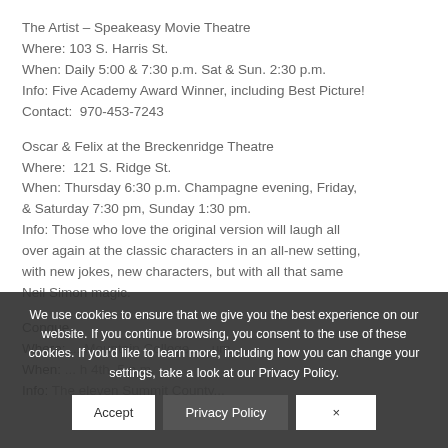The Artist – Speakeasy Movie Theatre
Where: 103 S. Harris St.
When: Daily 5:00 & 7:30 p.m. Sat & Sun. 2:30 p.m.
Info: Five Academy Award Winner, including Best Picture!
Contact: 970-453-7243
Oscar & Felix at the Breckenridge Theatre
Where: 121 S. Ridge St.
When: Thursday 6:30 p.m. Champagne evening, Friday, & Saturday 7:30 pm, Sunday 1:30 pm.
Info: Those who love the original version will laugh all over again at the classic characters in an all-new setting, with new jokes, new characters, but with all that same Neil Simon magic.
Conque... [truncated by cookie banner]
Where: ... Mountain College ... um
When: ... h 4th, 5 p.m.
Info: The eleven Summit County...
We use cookies to ensure that we give you the best experience on our website. If you continue browsing, you consent to the use of these cookies. If you'd like to learn more, including how you can change your settings, take a look at our Privacy Policy.